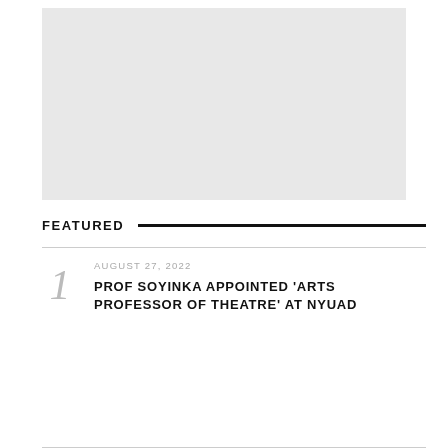[Figure (photo): Light gray placeholder image area at the top of the page]
FEATURED
AUGUST 27, 2022
PROF SOYINKA APPOINTED 'ARTS PROFESSOR OF THEATRE' AT NYUAD